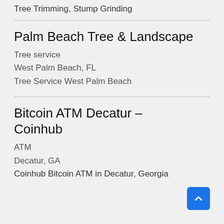Tree Trimming, Stump Grinding
Palm Beach Tree & Landscape
Tree service
West Palm Beach, FL
Tree Service West Palm Beach
Bitcoin ATM Decatur – Coinhub
ATM
Decatur, GA
Coinhub Bitcoin ATM in Decatur, Georgia